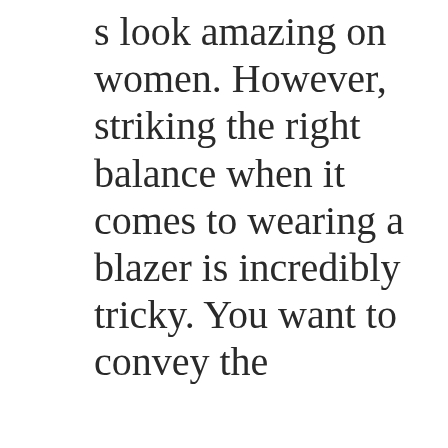s look amazing on women. However, striking the right balance when it comes to wearing a blazer is incredibly tricky. You want to convey the